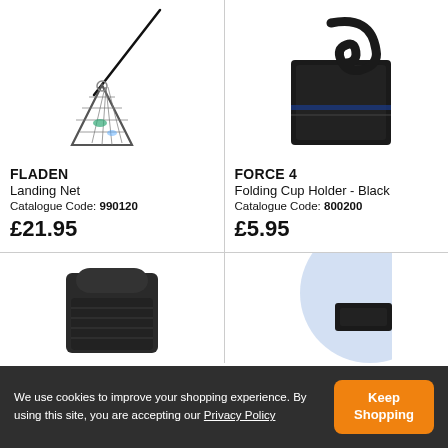[Figure (photo): FLADEN Landing Net product photo - triangular fishing net with long handle on white background]
FLADEN
Landing Net
Catalogue Code: 990120
£21.95
[Figure (photo): FORCE 4 Folding Cup Holder Black product photo on white background]
FORCE 4
Folding Cup Holder - Black
Catalogue Code: 800200
£5.95
[Figure (photo): Partial product photo at bottom left - dark fabric/bag item]
[Figure (photo): Partial product photo at bottom right - light blue circular item]
We use cookies to improve your shopping experience. By using this site, you are accepting our Privacy Policy
Keep Shopping